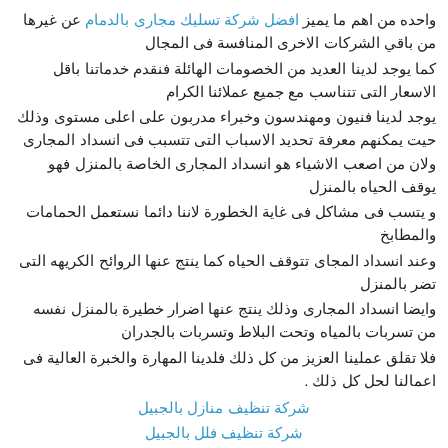واحده من اهم ما يميز افضل شركة تسليك مجارى بالدمام عن غيرها من باقي الشركات الاخرى المنافسة فى المجال
كما يوجد لدينا العديد من الخصومات الهائلة فنقدم خدماتنا باقل الاسعار التى تتناسب مع جميع عملائنا الكرام
يوجد لدينا فنيون ومهندسون وخبراء مدربون على اعلى مستوى وذلك حيت يمكنهم معرفة تحديد الاسباب التى تتسبب فى انسداد المجارى ولان من اصعب الاشياء هو انسداد المجارى الخاصة بالمنزل فهو يوقف الحياه بالمنزل
و يتسب فى مشاكل فى غاية الخطورة لاننا دائما نستعمل الحمامات والمطابخ
وعند انسداد المجاى تتوقف الحياه كما ينتج عنها الروائح الكريهه التى تضر بالمنزل
وايضا انسداد المجارى وذلك ينتج عنها اضرار خطيرة بالمنزل نفسه من تسربات بالمياه وتحت البلاط وتسربات بالجدران
فلا تقلق عملينا العزيز من كل ذلك فلدينا المهارة والخبرة العالية فى اعمالنا لحل كل ذلك .
شركة تنظيف منازل بالجبيل
شركة تنظيف فلل بالجبيل
شركة المثالية للتنظيف
شركة عزل اسطح بالرياض
شركة صيانة مسابح بالرياض